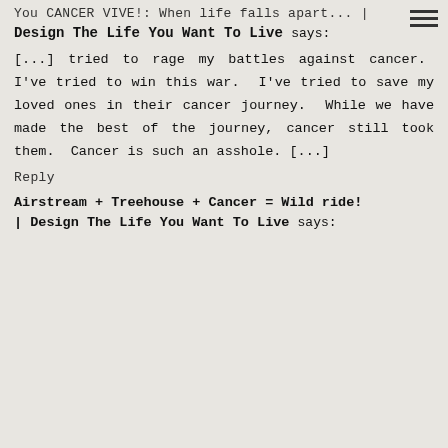You CANCER VIVE!: When life falls apart... | Design The Life You Want To Live says:
[...] tried to rage my battles against cancer.  I've tried to win this war.  I've tried to save my loved ones in their cancer journey.  While we have made the best of the journey, cancer still took them.  Cancer is such an asshole. [...]
Reply
Airstream + Treehouse + Cancer = Wild ride! | Design The Life You Want To Live says: